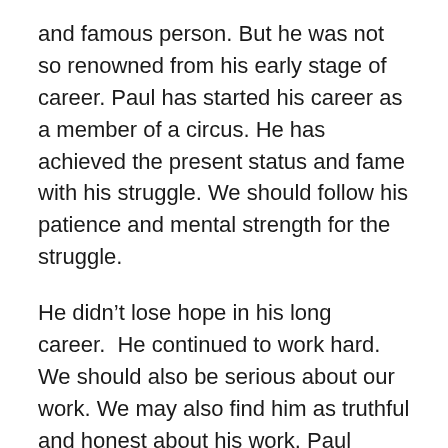and famous person. But he was not so renowned from his early stage of career. Paul has started his career as a member of a circus. He has achieved the present status and fame with his struggle. We should follow his patience and mental strength for the struggle.
He didn't lose hope in his long career.  He continued to work hard. We should also be serious about our work. We may also find him as truthful and honest about his work. Paul Mooney had also faced with the controversy. But he never lost hope. Despite his being affected by cancer, he has continued his work.